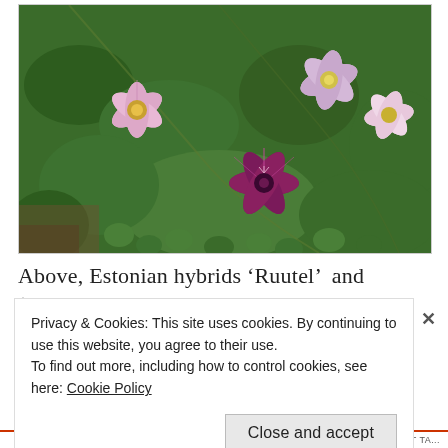[Figure (photo): Photograph of clematis flowers — pink and purple blooms among green leaves. Two lighter pink clematis flowers with white-yellow centers are visible in the upper portion, and a deep purple-magenta star-shaped clematis flower is prominent in the lower center. Background is dense green foliage.]
Above, Estonian hybrids 'Ruutel' and 'Piilu'
Privacy & Cookies: This site uses cookies. By continuing to use this website, you agree to their use.
To find out more, including how to control cookies, see here: Cookie Policy
Close and accept